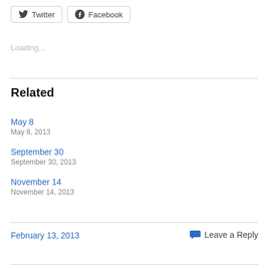[Figure (other): Social sharing buttons: Twitter and Facebook]
Loading...
Related
May 8
May 8, 2013
September 30
September 30, 2013
November 14
November 14, 2013
February 13, 2013
Leave a Reply